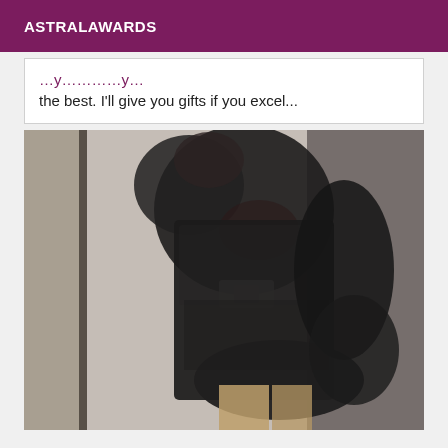ASTRALAWARDS
the best. I'll give you gifts if you excel...
[Figure (photo): A person wearing a black leather mini dress photographed from the side in what appears to be a fitting room or mirror selfie setting. The photo is somewhat blurry.]